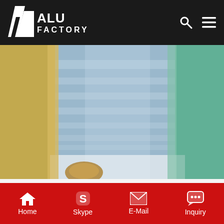[Figure (logo): ALU FACTORY logo — white text on black bar with geometric triangle/parallelogram icon]
[Figure (photo): Aluminum alloy plates stacked and wrapped in packaging material (brown cardboard and plastic), showing polished silver-blue metallic surface]
7475 Aerospace and Transportation Aluminium Plates
Aluminum Alloy Plate. 6063 T6 Aluminum Alloy Plate Thickness 6mm 1250mm*2500mm Stock Size. 5083 LF4 En Aw-5083 Aluminum Alloy Plate Marine Grade Good Weldability ABS
Home  Skype  E-Mail  Inquiry